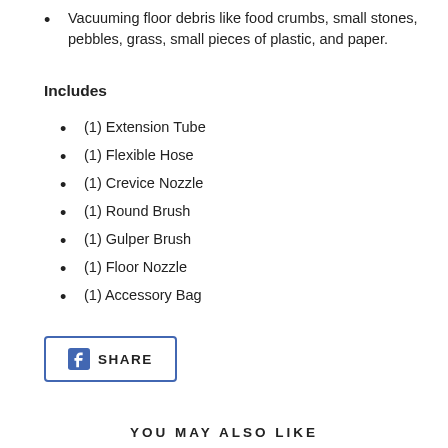Vacuuming floor debris like food crumbs, small stones, pebbles, grass, small pieces of plastic, and paper.
Includes
(1) Extension Tube
(1) Flexible Hose
(1) Crevice Nozzle
(1) Round Brush
(1) Gulper Brush
(1) Floor Nozzle
(1) Accessory Bag
SHARE
YOU MAY ALSO LIKE